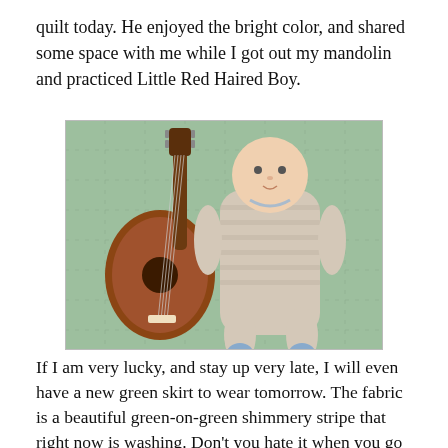quilt today. He enjoyed the bright color, and shared some space with me while I got out my mandolin and practiced Little Red Haired Boy.
[Figure (photo): A baby lying on a green quilt next to a mandolin instrument]
If I am very lucky, and stay up very late, I will even have a new green skirt to wear tomorrow. The fabric is a beautiful green-on-green shimmery stripe that right now is washing. Don't you hate it when you go to start a proejct, only to realize the fabric neatly stacked in your fabric bin has not been washed and dried yet? Grr. That was my lot today. And I had so carefully planned out this time to sew!
[Figure (photo): Partial view of another photo at the bottom of the page, appears to show a baby]